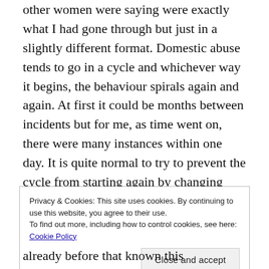other women were saying were exactly what I had gone through but just in a slightly different format. Domestic abuse tends to go in a cycle and whichever way it begins, the behaviour spirals again and again. At first it could be months between incidents but for me, as time went on, there were many instances within one day. It is quite normal to try to prevent the cycle from starting again by changing your behaviour as much as possible. The help I received by attending a course meant that I began to understand that we were all subjected to the same behaviour and that no one knew before that this
Privacy & Cookies: This site uses cookies. By continuing to use this website, you agree to their use.
To find out more, including how to control cookies, see here: Cookie Policy
Close and accept
already before that already known for the...